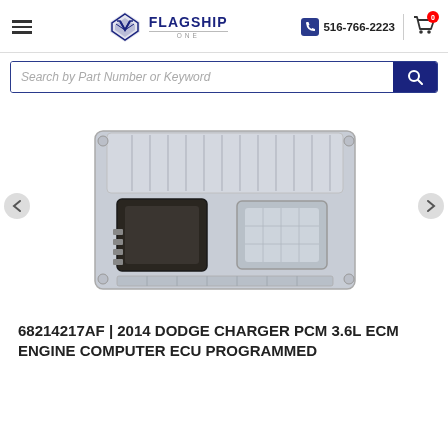Flagship One — 516-766-2223
[Figure (screenshot): Search bar with placeholder text 'Search by Part Number or Keyword' and a dark blue search button with magnifying glass icon]
[Figure (photo): Product photo of a silver automotive PCM/ECM engine computer module with two black connectors on the front face, shown against a white background with left and right navigation arrows]
68214217AF | 2014 DODGE CHARGER PCM 3.6L ECM ENGINE COMPUTER ECU PROGRAMMED